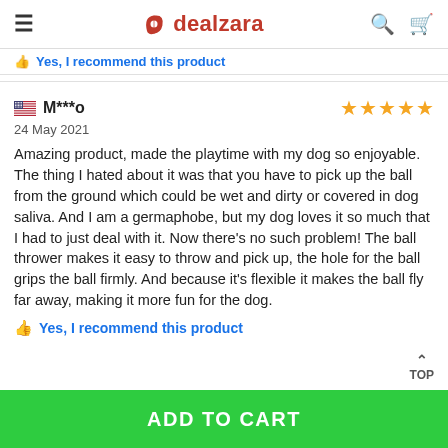dealzara
Yes, I recommend this product
M***o — 24 May 2021 — 4 stars
Amazing product, made the playtime with my dog so enjoyable. The thing I hated about it was that you have to pick up the ball from the ground which could be wet and dirty or covered in dog saliva. And I am a germaphobe, but my dog loves it so much that I had to just deal with it. Now there's no such problem! The ball thrower makes it easy to throw and pick up, the hole for the ball grips the ball firmly. And because it's flexible it makes the ball fly far away, making it more fun for the dog.
Yes, I recommend this product
TOP